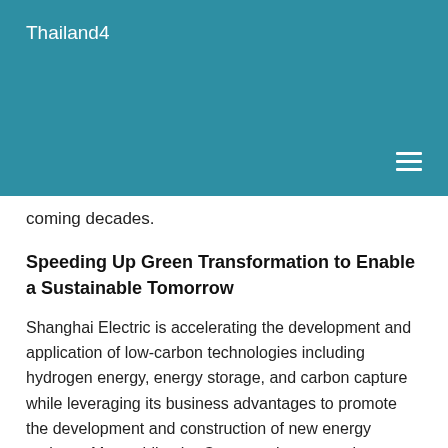Thailand4
coming decades.
Speeding Up Green Transformation to Enable a Sustainable Tomorrow
Shanghai Electric is accelerating the development and application of low-carbon technologies including hydrogen energy, energy storage, and carbon capture while leveraging its business advantages to promote the development and construction of new energy projects. Meanwhile, the Company is constantly improving the blueprint and roadmap for its renewable solutions and services to boost consumption capacity for new energy.
Shanghai Electric has bolstered the United Arab Emirates in its effort to help the country achieve green